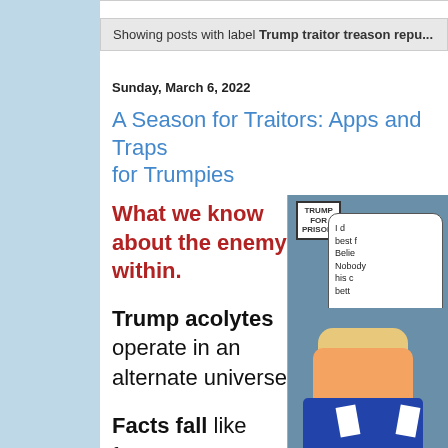Showing posts with label Trump traitor treason repu...
Sunday, March 6, 2022
A Season for Traitors: Apps and Traps for Trumpies
What we know about the enemy within.
Trump acolytes operate in an alternate universe.
Facts fall like frozen
[Figure (illustration): Political cartoon showing Trump figure with 'Trump for Prison!' sign and speech bubble saying 'I do best f... Belie... Nobody... his c... bett...']